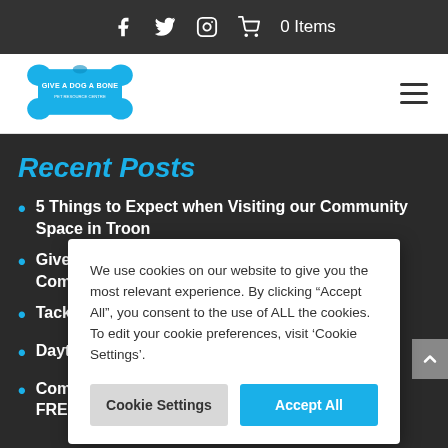f  Twitter  Instagram  Cart  0 Items
[Figure (logo): Give a Dog a Bone logo — blue bone-shaped logo with white text]
Recent Posts
5 Things to Expect when Visiting our Community Space in Troon
Give a D... Commu...
Tackling...
Daytime...
Compar... FREE Hot...
We use cookies on our website to give you the most relevant experience. By clicking “Accept All”, you consent to the use of ALL the cookies. To edit your cookie preferences, visit ‘Cookie Settings’.
Cookie Settings | Accept All